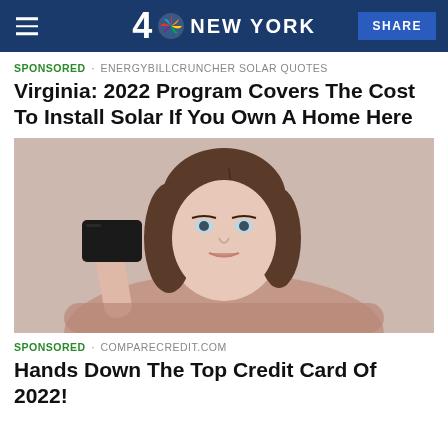4 NEW YORK | SHARE
SPONSORED · ENERGYBILLCRUNCHER SOLAR QUOTES
Virginia: 2022 Program Covers The Cost To Install Solar If You Own A Home Here
[Figure (photo): A young woman with brown hair holding a black credit card, wearing a mauve sweater, against a light pink background.]
SPONSORED · COMPARECREDIT.COM
Hands Down The Top Credit Card Of 2022!